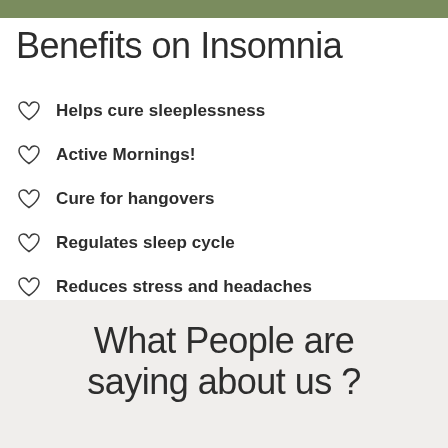[Figure (photo): Partial image of an outdoor scene at the top of the page]
Benefits on Insomnia
Helps cure sleeplessness
Active Mornings!
Cure for hangovers
Regulates sleep cycle
Reduces stress and headaches
What People are saying about us ?